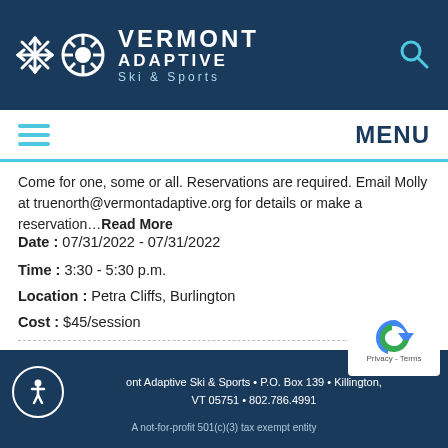Vermont Adaptive Ski & Sports
Come for one, some or all. Reservations are required. Email Molly at truenorth@vermontadaptive.org for details or make a reservation...Read More
Date : 07/31/2022 - 07/31/2022
Time : 3:30 - 5:30 p.m.
Location : Petra Cliffs, Burlington
Cost : $45/session
[Figure (illustration): Mountain silhouette landscape in dark navy blue]
Vermont Adaptive Ski & Sports • P.O. Box 139 • Killington, VT 05751 • 802.786.4991
A not-for-profit 501(c)(3) tax exempt entity